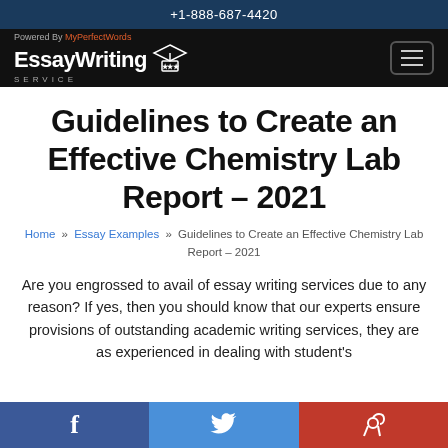+1-888-687-4420
[Figure (logo): EssayWriting Service logo with graduation cap icon, 'Powered By MyPerfectWords' tagline]
Guidelines to Create an Effective Chemistry Lab Report – 2021
Home » Essay Examples » Guidelines to Create an Effective Chemistry Lab Report – 2021
Are you engrossed to avail of essay writing services due to any reason? If yes, then you should know that our experts ensure provisions of outstanding academic writing services, they are as experienced in dealing with student's
[Figure (infographic): Social share buttons: Facebook (blue), Twitter (light blue), Pinterest (red)]